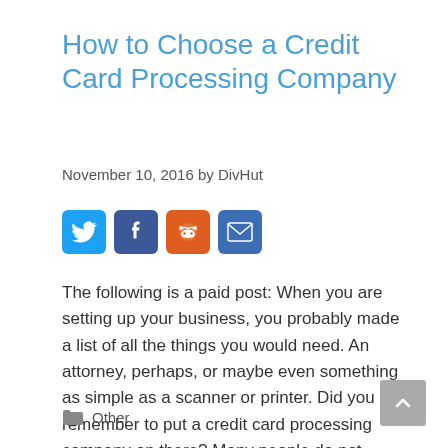How to Choose a Credit Card Processing Company
November 10, 2016 by DivHut
[Figure (other): Social sharing icons: Twitter (blue), Facebook (dark blue), Reddit (orange), Email (blue)]
The following is a paid post: When you are setting up your business, you probably made a list of all the things you would need. An attorney, perhaps, or maybe even something as simple as a scanner or printer. Did you remember to put a credit card processing company on there? Many people do not, … Read more
Other